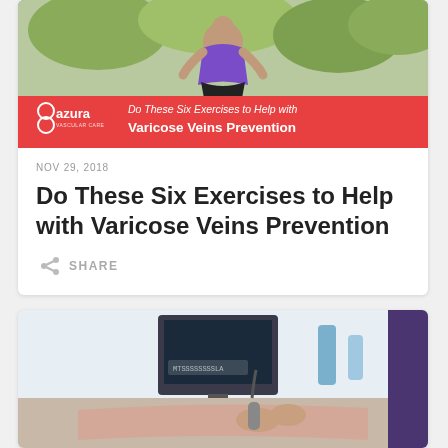[Figure (photo): Woman in purple top doing outdoor exercise squat, with Azura Vascular Care branded red banner overlay showing article title]
NOV 29, 2018
Do These Six Exercises to Help with Varicose Veins Prevention
SHARE
[Figure (photo): Medical professional performing ultrasound on a patient's arm with medical equipment in background]